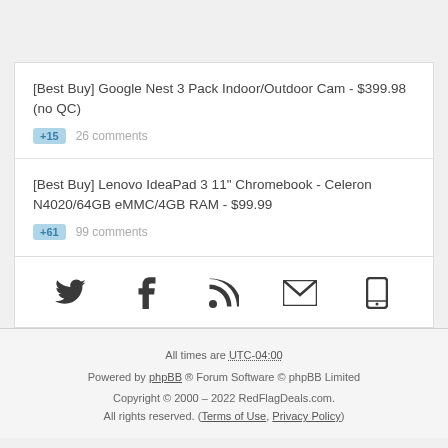[Best Buy] Google Nest 3 Pack Indoor/Outdoor Cam - $399.98 (no QC) +15 26 comments
[Best Buy] Lenovo IdeaPad 3 11" Chromebook - Celeron N4020/64GB eMMC/4GB RAM - $99.99 +61 99 comments
[Figure (infographic): Social media icons: Twitter, Facebook, RSS feed, Email, Mobile]
All times are UTC-04:00
Powered by phpBB ® Forum Software © phpBB Limited
Copyright © 2000 – 2022 RedFlagDeals.com. All rights reserved. (Terms of Use, Privacy Policy)